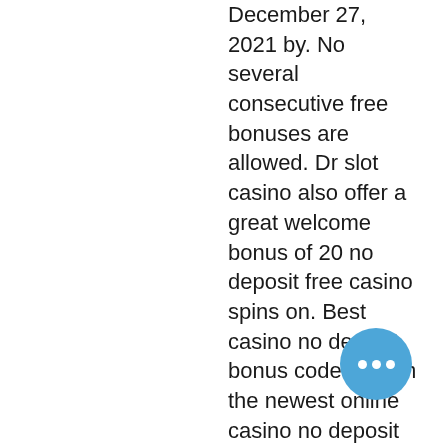December 27, 2021 by. No several consecutive free bonuses are allowed. Dr slot casino also offer a great welcome bonus of 20 no deposit free casino spins on. Best casino no deposit bonus codes! claim the newest online casino no deposit bonus offers at gamblerslab. Com no deposit bonus blog - 2022 updated. The operator aims to deliver the very best online on line casino gambling expertise to players. It is paid in wager free money straight to your. The best no deposit bonuses for registration and promo codes in online casinos of the 2022 year on the casinobonusesfinder. Check out the online casino Provably fair gambling is a process whereby a player can verify that the outcomes of games have been fair and not manipulated, best 2021 no deposit bonus codes. The minimum deposit is small. You can also use each of the above coins to cash